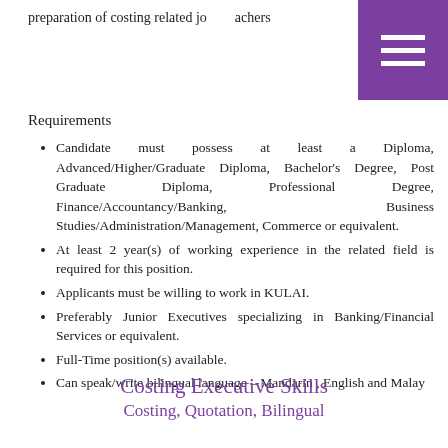preparation of costing related jo… achers
Requirements
Candidate must possess at least a Diploma, Advanced/Higher/Graduate Diploma, Bachelor's Degree, Post Graduate Diploma, Professional Degree, Finance/Accountancy/Banking, Business Studies/Administration/Management, Commerce or equivalent.
At least 2 year(s) of working experience in the related field is required for this position.
Applicants must be willing to work in KULAI.
Preferably Junior Executives specializing in Banking/Financial Services or equivalent.
Full-Time position(s) available.
Can speak/write bilingual language – Mandarin , English and Malay
Costing Executive Skills
Costing, Quotation, Bilingual